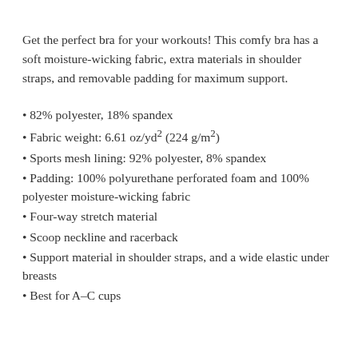Get the perfect bra for your workouts! This comfy bra has a soft moisture-wicking fabric, extra materials in shoulder straps, and removable padding for maximum support.
82% polyester, 18% spandex
Fabric weight: 6.61 oz/yd² (224 g/m²)
Sports mesh lining: 92% polyester, 8% spandex
Padding: 100% polyurethane perforated foam and 100% polyester moisture-wicking fabric
Four-way stretch material
Scoop neckline and racerback
Support material in shoulder straps, and a wide elastic under breasts
Best for A–C cups